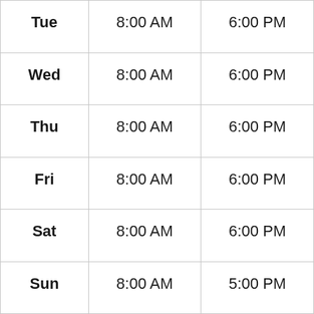| Tue | 8:00 AM | 6:00 PM |
| Wed | 8:00 AM | 6:00 PM |
| Thu | 8:00 AM | 6:00 PM |
| Fri | 8:00 AM | 6:00 PM |
| Sat | 8:00 AM | 6:00 PM |
| Sun | 8:00 AM | 5:00 PM |